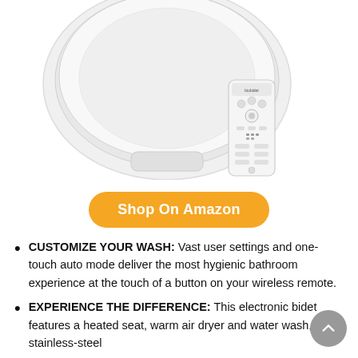[Figure (photo): White electronic bidet toilet seat with a white wireless remote control placed on top of it, shown from above on a white background.]
Shop On Amazon
CUSTOMIZE YOUR WASH: Vast user settings and one-touch auto mode deliver the most hygienic bathroom experience at the touch of a button on your wireless remote.
EXPERIENCE THE DIFFERENCE: This electronic bidet features a heated seat, warm air dryer and water wash, stainless-steel